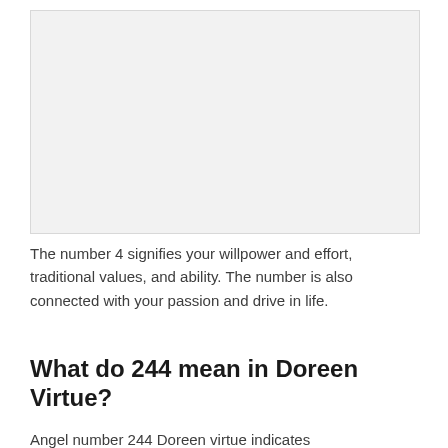[Figure (other): Blank light gray rectangular placeholder image]
The number 4 signifies your willpower and effort, traditional values, and ability. The number is also connected with your passion and drive in life.
What do 244 mean in Doreen Virtue?
Angel number 244 Doreen virtue indicates